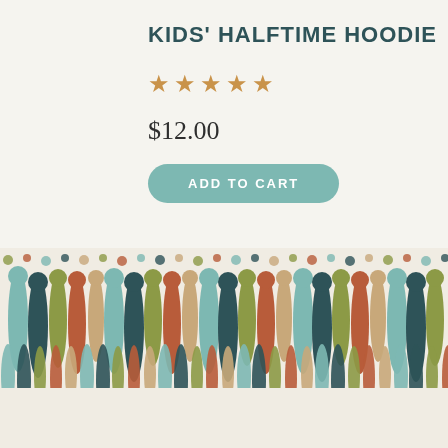KIDS' HALFTIME HOODIE
★★★★★
$12.00
ADD TO CART
[Figure (illustration): Decorative banner of colorful teardrop/raindrop shapes in teal, dark navy, olive/green, terracotta/red, tan/beige colors arranged in a repeating horizontal pattern strip]
Save 30% on your first pattern.